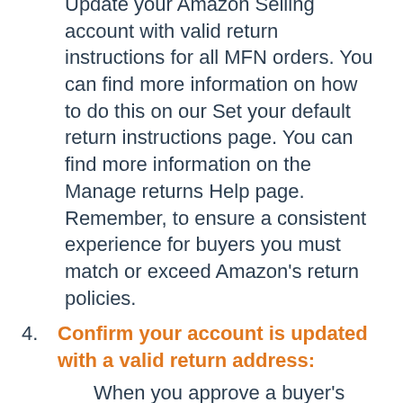Update your Amazon Selling account with valid return instructions for all MFN orders. You can find more information on how to do this on our Set your default return instructions page. You can find more information on the Manage returns Help page. Remember, to ensure a consistent experience for buyers you must match or exceed Amazon's return policies.
4. Confirm your account is updated with a valid return address: When you approve a buyer's request to return a product, Amazon sends the buyer a return label with your default return address. To support this return process, sellers must provide a valid return address.